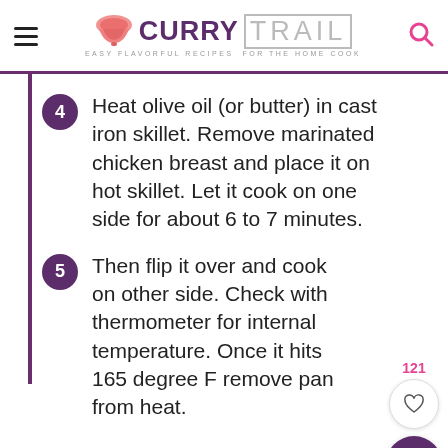CURRY TRAIL — EASY FLAVORFUL RECIPES FOR THE HOME COOK
Heat olive oil (or butter) in cast iron skillet. Remove marinated chicken breast and place it on hot skillet. Let it cook on one side for about 6 to 7 minutes.
Then flip it over and cook on other side. Check with thermometer for internal temperature. Once it hits 165 degree F remove pan from heat.